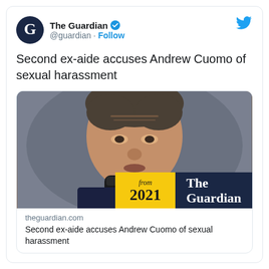[Figure (logo): The Guardian circular G logo in navy blue]
The Guardian @guardian · Follow
[Figure (logo): Twitter bird logo in blue]
Second ex-aide accuses Andrew Cuomo of sexual harassment
[Figure (photo): Photo of Andrew Cuomo with a mask pulled down, with 'from 2021 The Guardian' stamp overlay]
theguardian.com
Second ex-aide accuses Andrew Cuomo of sexual harassment